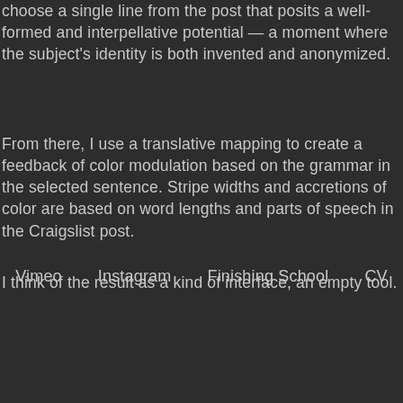choose a single line from the post that posits a well-formed and interpellative potential — a moment where the subject's identity is both invented and anonymized.
From there, I use a translative mapping to create a feedback of color modulation based on the grammar in the selected sentence. Stripe widths and accretions of color are based on word lengths and parts of speech in the Craigslist post.
I think of the result as a kind of interface, an empty tool.
Vimeo    Instagram    Finishing School    CV